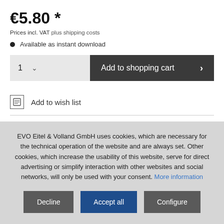€5.80 *
Prices incl. VAT plus shipping costs
Available as instant download
1  ∨  Add to shopping cart  >
Add to wish list
Order number: CM20201E
EVO Eitel & Volland GmbH uses cookies, which are necessary for the technical operation of the website and are always set. Other cookies, which increase the usability of this website, serve for direct advertising or simplify interaction with other websites and social networks, will only be used with your consent. More information
Decline | Accept all | Configure